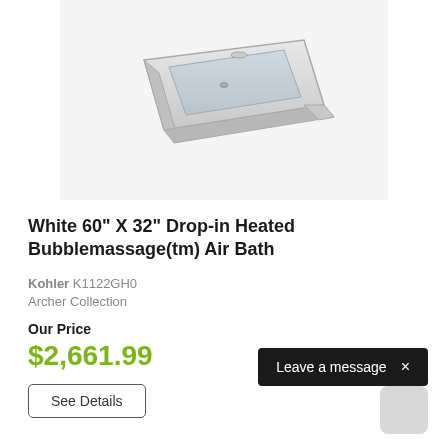[Figure (photo): White rectangular drop-in bathtub viewed from slight above angle, shown on light gray background]
White 60" X 32" Drop-in Heated Bubblemassage(tm) Air Bath
Kohler K1122GH0
Archer Collection
Our Price
$2,661.99
See Details
Leave a message ×